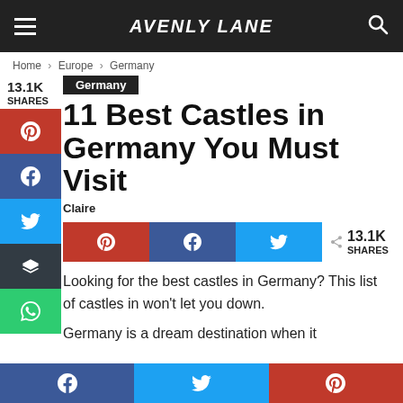AVENLY LANE
Home › Europe › Germany
Germany
11 Best Castles in Germany You Must Visit
Claire
13.1K SHARES
Looking for the best castles in Germany? This list of castles in won't let you down.
Germany is a dream destination when it